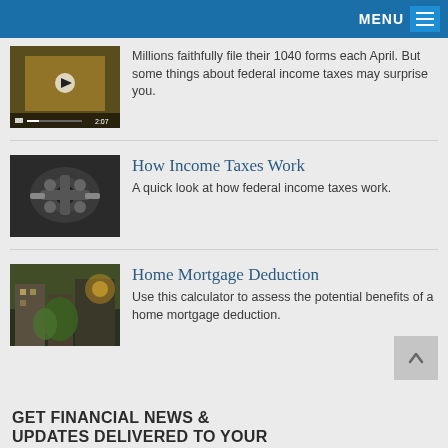MENU
[Figure (photo): Thumbnail image of a person holding a phone/form with video play button overlay, showing 2:07 duration]
Millions faithfully file their 1040 forms each April. But some things about federal income taxes may surprise you.
[Figure (photo): Thumbnail image of mechanical engine parts being worked on]
How Income Taxes Work
A quick look at how federal income taxes work.
[Figure (photo): Thumbnail image of a building exterior with trees and sunlight]
Home Mortgage Deduction
Use this calculator to assess the potential benefits of a home mortgage deduction.
GET FINANCIAL NEWS & UPDATES DELIVERED TO YOUR